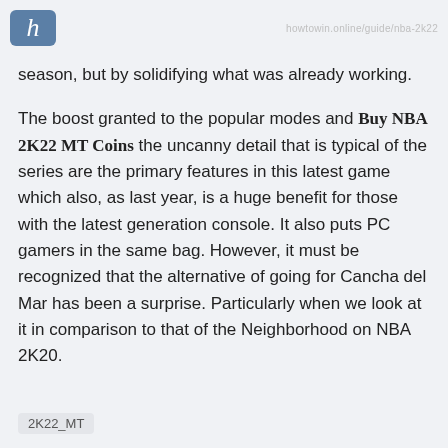h  [watermark: howtowin.online/guide/nba-2k22]
season, but by solidifying what was already working.
The boost granted to the popular modes and Buy NBA 2K22 MT Coins the uncanny detail that is typical of the series are the primary features in this latest game which also, as last year, is a huge benefit for those with the latest generation console. It also puts PC gamers in the same bag. However, it must be recognized that the alternative of going for Cancha del Mar has been a surprise. Particularly when we look at it in comparison to that of the Neighborhood on NBA 2K20.
2K22_MT